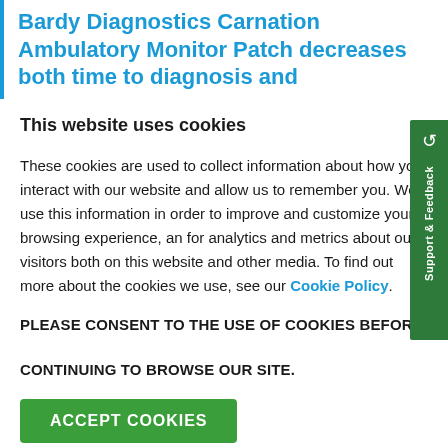Bardy Diagnostics Carnation Ambulatory Monitor Patch decreases both time to diagnosis and
This website uses cookies
These cookies are used to collect information about how you interact with our website and allow us to remember you. We use this information in order to improve and customize your browsing experience, and for analytics and metrics about our visitors both on this website and other media. To find out more about the cookies we use, see our Cookie Policy.
PLEASE CONSENT TO THE USE OF COOKIES BEFORE CONTINUING TO BROWSE OUR SITE.
ACCEPT COOKIES